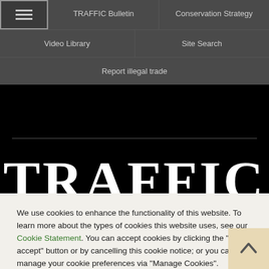TRAFFIC Bulletin | Conservation Strategy | Video Library | Site Search | Report illegal trade
TRAFFIC
We use cookies to enhance the functionality of this website. To learn more about the types of cookies this website uses, see our Cookie Statement. You can accept cookies by clicking the "I accept" button or by cancelling this cookie notice; or you can manage your cookie preferences via "Manage Cookies".
I accept
Manage Cookies